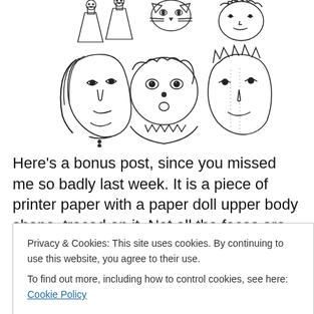[Figure (illustration): Hand-drawn sketch of multiple faces and figures in pen/ink style. Shows several female and male faces with different hairstyles, plus small paper doll-like upper body figures at the top. Sketch style, black ink on white.]
Here's a bonus post, since you missed me so badly last week. It is a piece of printer paper with a paper doll upper body shape, traced on it. Not all the faces are female
Privacy & Cookies: This site uses cookies. By continuing to use this website, you agree to their use.
To find out more, including how to control cookies, see here: Cookie Policy
eyes, hairstyles, mouths and noses. Once I got warmed